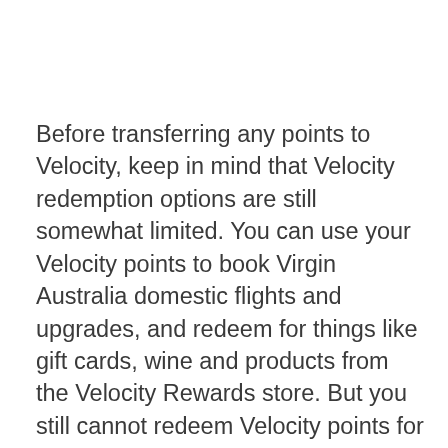Before transferring any points to Velocity, keep in mind that Velocity redemption options are still somewhat limited. You can use your Velocity points to book Virgin Australia domestic flights and upgrades, and redeem for things like gift cards, wine and products from the Velocity Rewards store. But you still cannot redeem Velocity points for international flights, partner airline award tickets or convert your points to Singapore Airlines KrisFlyer miles. These options have not been restored yet since